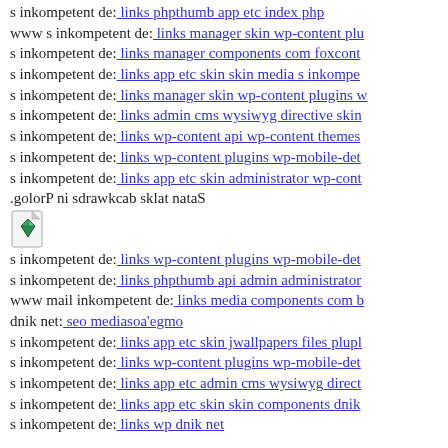s inkompetent de: links phpthumb app etc index php
www s inkompetent de: links manager skin wp-content plu
s inkompetent de: links manager components com foxcont
s inkompetent de: links app etc skin skin media s inkompe
s inkompetent de: links manager skin wp-content plugins w
s inkompetent de: links admin cms wysiwyg directive skin
s inkompetent de: links wp-content api wp-content themes
s inkompetent de: links wp-content plugins wp-mobile-det
s inkompetent de: links app etc skin administrator wp-cont
.golorP ni sdrawkcab sklat nataS
[Figure (illustration): Small icon/image of a gem or crystal on a document/card graphic]
s inkompetent de: links wp-content plugins wp-mobile-det
s inkompetent de: links phpthumb api admin administrator
www mail inkompetent de: links media components com b
dnik net: seo mediasoa'egmo
s inkompetent de: links app etc skin jwallpapers files plupl
s inkompetent de: links wp-content plugins wp-mobile-det
s inkompetent de: links app etc admin cms wysiwyg direct
s inkompetent de: links app etc skin skin components dnik
s inkompetent de: links wp dnik net